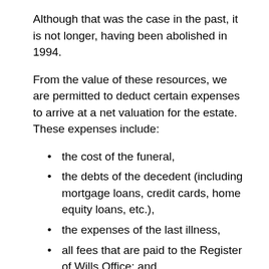Although that was the case in the past, it is not longer, having been abolished in 1994.
From the value of these resources, we are permitted to deduct certain expenses to arrive at a net valuation for the estate. These expenses include:
the cost of the funeral,
the debts of the decedent (including mortgage loans, credit cards, home equity loans, etc.),
the expenses of the last illness,
all fees that are paid to the Register of Wills Office; and
the legal fees for processing the estate, and